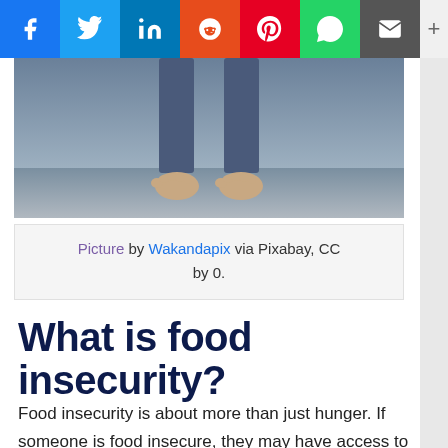[Figure (other): Social media share bar with icons for Facebook, Twitter, LinkedIn, Reddit, Pinterest, WhatsApp, Email, and a plus button]
[Figure (photo): Photo showing bare feet standing on a surface, partially cropped — bottom portion of a person standing outdoors]
Picture by Wakandapix via Pixabay, CC by 0.
What is food insecurity?
Food insecurity is about more than just hunger. If someone is food insecure, they may have access to some food, but struggle to get food that is nutritious, adequate, and safe to eat.